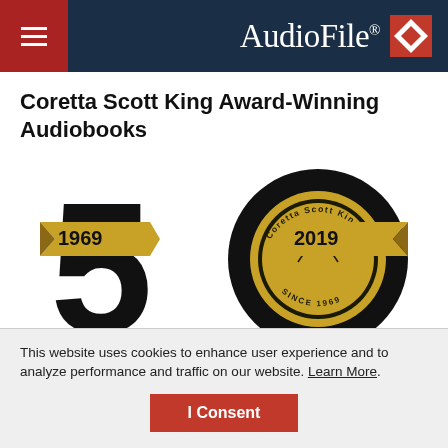AudioFile®
Coretta Scott King Award-Winning Audiobooks
[Figure (logo): 50th anniversary logo for Coretta Scott King Book Awards 1969–2019, showing large '50' numerals with a gold ribbon banner and a circular medal/seal in the zero]
This website uses cookies to enhance user experience and to analyze performance and traffic on our website. Learn More.
I Consent